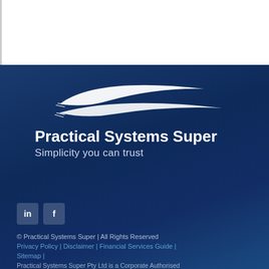[Figure (logo): Practical Systems Super logo with white swoosh/wing shape above the company name on a dark navy blue background]
Practical Systems Super
Simplicity you can trust
[Figure (infographic): LinkedIn and Facebook social media icon buttons in grey/transparent boxes]
© Practical Systems Super | All Rights Reserved
Privacy Policy | Disclaimer | Financial Services Guide |
Sitemap |
Practical Systems Super Pty Ltd is a Corporate Authorised